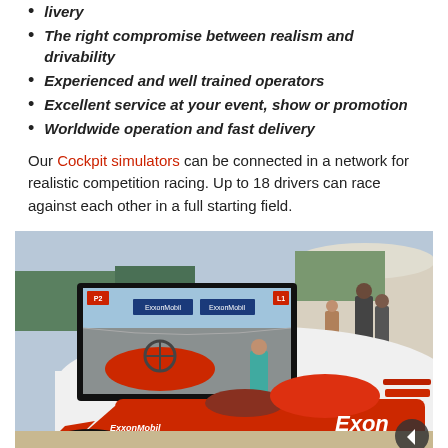livery
The right compromise between realism and drivability
Experienced and well trained operators
Excellent service at your event, show or promotion
Worldwide operation and fast delivery
Our Cockpit simulators can be connected in a network for realistic competition racing. Up to 18 drivers can race against each other in a full starting field.
[Figure (photo): A red Formula 1-style racing cockpit simulator branded with ExxonMobil logos, with a large TV screen showing an on-screen racing game. People including a child are visible in the background at what appears to be an outdoor promotional event.]